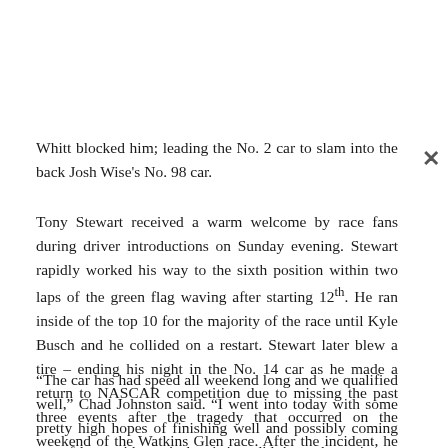Whitt blocked him; leading the No. 2 car to slam into the back Josh Wise's No. 98 car.
Tony Stewart received a warm welcome by race fans during driver introductions on Sunday evening. Stewart rapidly worked his way to the sixth position within two laps of the green flag waving after starting 12th. He ran inside of the top 10 for the majority of the race until Kyle Busch and he collided on a restart. Stewart later blew a tire – ending his night in the No. 14 car as he made a return to NASCAR competition due to missing the past three events after the tragedy that occurred on the weekend of the Watkins Glen race. After the incident, he was not available for comment, but his crew chief did.
“The car has had speed all weekend long and we qualified well,” Chad Johnston said. “I went into today with some pretty high hopes of finishing well and possibly coming out of here with a win but it just didn’t work out in our favor.  We got into a little trouble with the